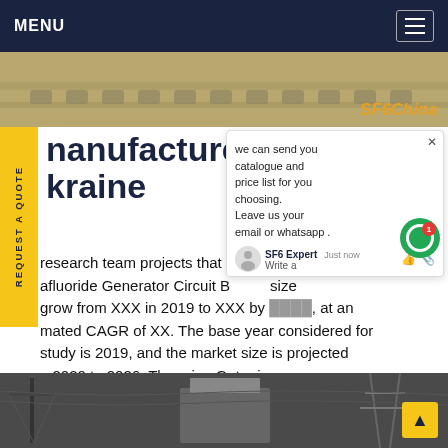MENU
[Figure (photo): Top banner image of industrial equipment/ground surface with SF6China logo overlay]
manufacture fs6 breaker ukraine
research team projects that the sulfafluoride Generator Circuit Breaker market size grow from XXX in 2019 to XXX by 2026, at an estimated CAGR of XX. The base year considered for the study is 2019, and the market size is projected from 2020 to 2026. The primeGet price
[Figure (screenshot): Chat popup overlay: we can send you catalogue and price list for you choosing. Leave us your email or whatsapp. SF6 Expert just now. Write a message.]
[Figure (photo): Bottom image of electrical substation with transmission towers]